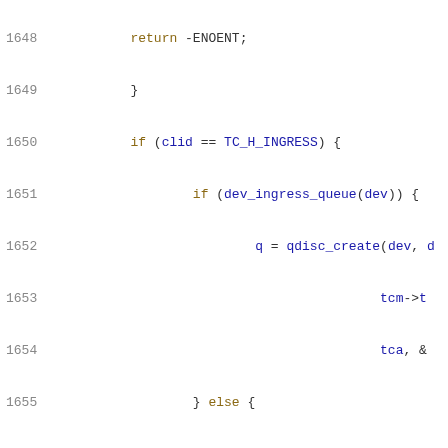[Figure (screenshot): Source code listing in C, lines 1648-1669, showing kernel networking code with qdisc and netdev queue operations. Light background with line numbers in gray, keywords in gold/brown, identifiers in blue/dark blue.]